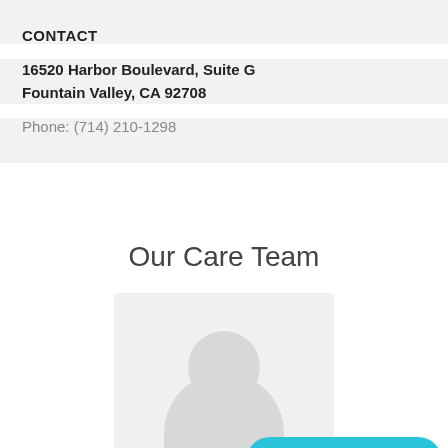CONTACT
16520 Harbor Boulevard, Suite G
Fountain Valley, CA 92708
Phone: (714) 210-1298
Our Care Team
[Figure (photo): Staff member photo placeholder with avatar silhouette on light gray background]
[Figure (other): Live Chat button overlay with chat bubble icon and text 'Live Chat' on cyan/teal background]